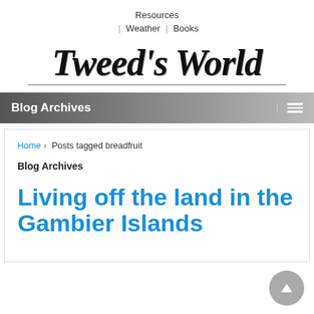Resources | Weather | Books
Tweed's World
Blog Archives
Home › Posts tagged breadfruit
Blog Archives
Living off the land in the Gambier Islands